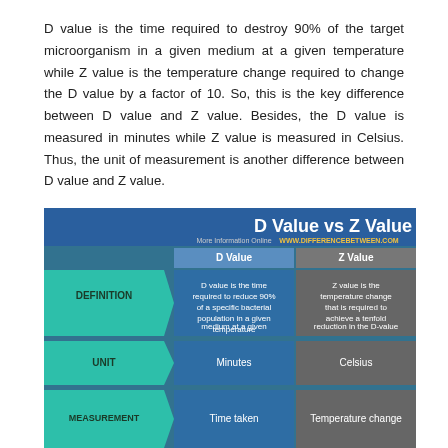D value is the time required to destroy 90% of the target microorganism in a given medium at a given temperature while Z value is the temperature change required to change the D value by a factor of 10. So, this is the key difference between D value and Z value. Besides, the D value is measured in minutes while Z value is measured in Celsius. Thus, the unit of measurement is another difference between D value and Z value.
[Figure (infographic): Comparison infographic titled 'D Value vs Z Value' from www.differencebetween.com showing a table with rows for DEFINITION (D value: time required to reduce 90% of a specific bacterial population in a given medium at a given temperature; Z value: temperature change that is required to achieve a tenfold reduction in the D-value), UNIT (D value: Minutes; Z value: Celsius), MEASUREMENT (D value: Time taken; Z value: Temperature change).]